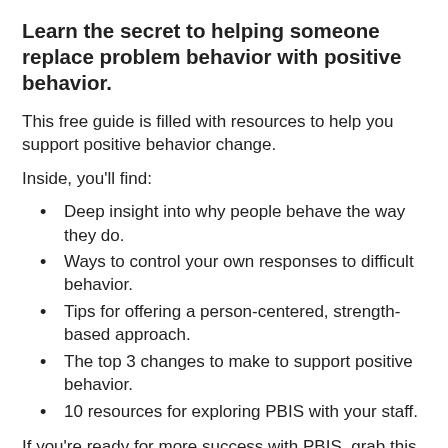Learn the secret to helping someone replace problem behavior with positive behavior.
This free guide is filled with resources to help you support positive behavior change.
Inside, you'll find:
Deep insight into why people behave the way they do.
Ways to control your own responses to difficult behavior.
Tips for offering a person-centered, strength-based approach.
The top 3 changes to make to support positive behavior.
10 resources for exploring PBIS with your staff.
If you're ready for more success with PBIS, grab this guide and put it to use today!